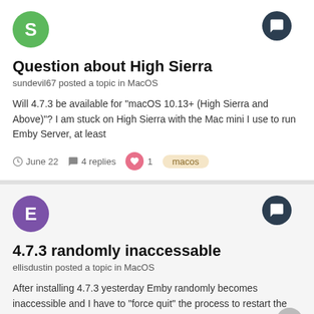[Figure (illustration): Green circular avatar with letter S]
[Figure (illustration): Dark circular chat/comment icon button]
Question about High Sierra
sundevil67 posted a topic in MacOS
Will 4.7.3 be available for "macOS 10.13+ (High Sierra and Above)"? I am stuck on High Sierra with the Mac mini I use to run Emby Server, at least
June 22   4 replies   1   macos
[Figure (illustration): Purple circular avatar with letter E]
[Figure (illustration): Dark circular chat/comment icon button]
4.7.3 randomly inaccessable
ellisdustin posted a topic in MacOS
After installing 4.7.3 yesterday Emby randomly becomes inaccessible and I have to "force quit" the process to restart the server. Seems to
June 20   2 replies   macos
[Figure (illustration): Gray circular scroll-up arrow button]